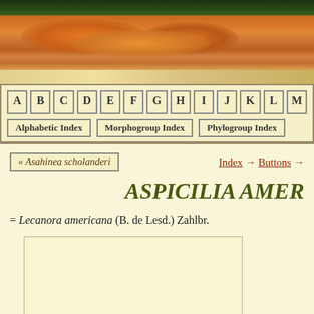[Figure (photo): Banner photo showing orange lichen-covered rocks with dark forest/green vegetation at top]
A B C D E F G H I J K L M | Alphabetic Index | Morphogroup Index | Phylogroup Index
« Asahinea scholanderi
Index → Buttons →
ASPICILIA AMER
= Lecanora americana (B. de Lesd.) Zahlbr.